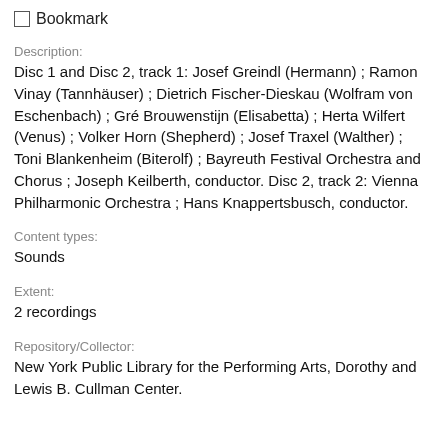Bookmark
Description:
Disc 1 and Disc 2, track 1: Josef Greindl (Hermann) ; Ramon Vinay (Tannhäuser) ; Dietrich Fischer-Dieskau (Wolfram von Eschenbach) ; Gré Brouwenstijn (Elisabetta) ; Herta Wilfert (Venus) ; Volker Horn (Shepherd) ; Josef Traxel (Walther) ; Toni Blankenheim (Biterolf) ; Bayreuth Festival Orchestra and Chorus ; Joseph Keilberth, conductor. Disc 2, track 2: Vienna Philharmonic Orchestra ; Hans Knappertsbusch, conductor.
Content types:
Sounds
Extent:
2 recordings
Repository/Collector:
New York Public Library for the Performing Arts, Dorothy and Lewis B. Cullman Center.